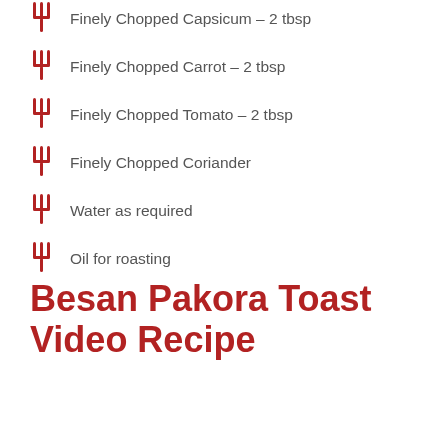Finely Chopped Capsicum – 2 tbsp
Finely Chopped Carrot – 2 tbsp
Finely Chopped Tomato – 2 tbsp
Finely Chopped Coriander
Water as required
Oil for roasting
Besan Pakora Toast Video Recipe